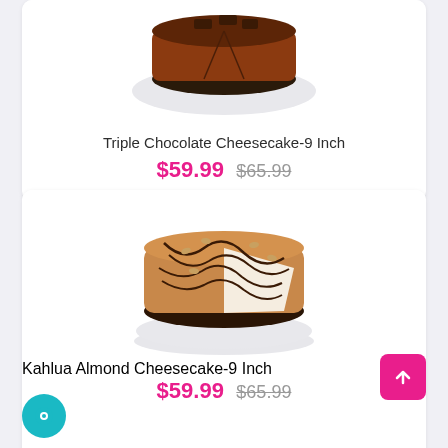[Figure (photo): Partially visible Triple Chocolate Cheesecake on a plate, sliced, with chocolate layers, viewed from above]
Triple Chocolate Cheesecake-9 Inch
$59.99  $65.99
[Figure (photo): Kahlua Almond Cheesecake on a white plate with a slice removed, topped with chocolate drizzle and almonds, dark cookie crust]
Kahlua Almond Cheesecake-9 Inch
$59.99  $65.99